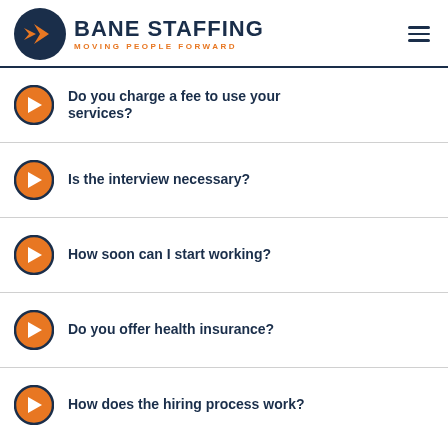BANE STAFFING — MOVING PEOPLE FORWARD
Do you charge a fee to use your services?
Is the interview necessary?
How soon can I start working?
Do you offer health insurance?
How does the hiring process work?